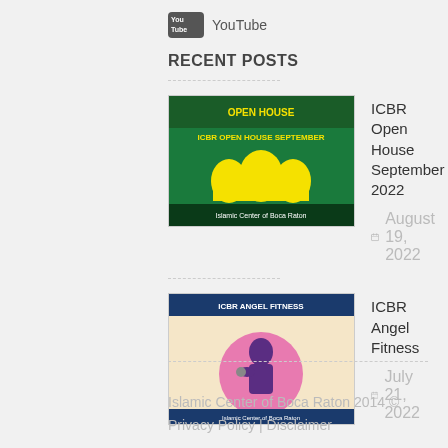[Figure (logo): YouTube logo icon with text 'YouTube']
RECENT POSTS
[Figure (photo): ICBR Open House event flyer with green background, Arabic-style domes and text]
ICBR Open House September 2022
August 19, 2022
[Figure (photo): ICBR Angel Fitness flyer with a woman in hijab holding dumbbells on pink circular background]
ICBR Angel Fitness
July 21, 2022
Islamic Center of Boca Raton 2014 © Privacy Policy | Disclaimer